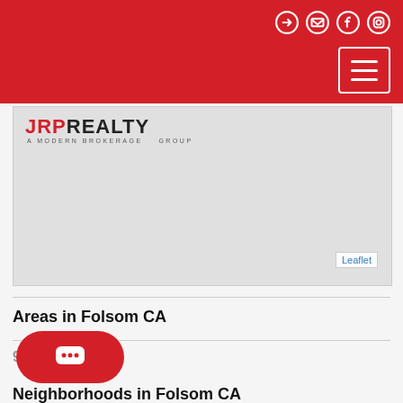JRP Realty Group website header with navigation icons
[Figure (map): Interactive map placeholder showing JRP Realty Group logo watermark, light grey background representing a Leaflet map area]
Leaflet
Areas in Folsom CA
95630
Neighborhoods in Folsom CA